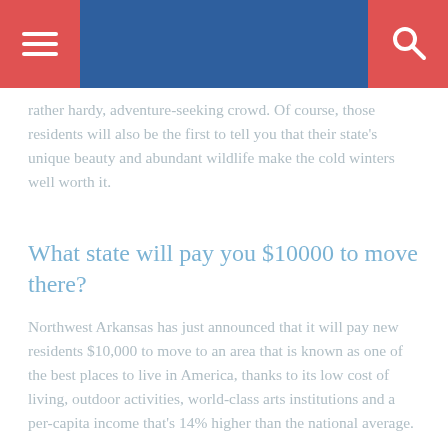Navigation bar with hamburger menu and search icon
rather hardy, adventure-seeking crowd. Of course, those residents will also be the first to tell you that their state's unique beauty and abundant wildlife make the cold winters well worth it.
What state will pay you $10000 to move there?
Northwest Arkansas has just announced that it will pay new residents $10,000 to move to an area that is known as one of the best places to live in America, thanks to its low cost of living, outdoor activities, world-class arts institutions and a per-capita income that's 14% higher than the national average.
You might be interested: When is new york marathon 2017